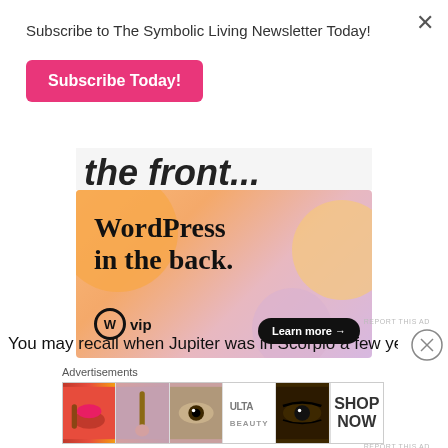Subscribe to The Symbolic Living Newsletter Today!
Subscribe Today!
[Figure (screenshot): WordPress VIP advertisement showing 'WordPress in the back.' with colorful blob background and Learn more button]
REPORT THIS AD
You may recall when Jupiter was in Scorpio a few years
Advertisements
[Figure (screenshot): Ulta Beauty advertisement strip showing makeup/beauty product images and SHOP NOW text]
REPORT THIS AD